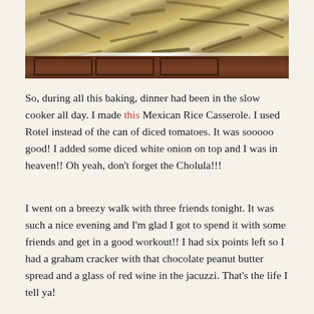[Figure (photo): Close-up photo of a granite kitchen countertop with beige/gold and black speckled pattern, with dark wood cabinets visible below.]
So, during all this baking, dinner had been in the slow cooker all day. I made this Mexican Rice Casserole. I used Rotel instead of the can of diced tomatoes. It was sooooo good! I added some diced white onion on top and I was in heaven!! Oh yeah, don't forget the Cholula!!!
I went on a breezy walk with three friends tonight. It was such a nice evening and I'm glad I got to spend it with some friends and get in a good workout!! I had six points left so I had a graham cracker with that chocolate peanut butter spread and a glass of red wine in the jacuzzi. That's the life I tell ya!